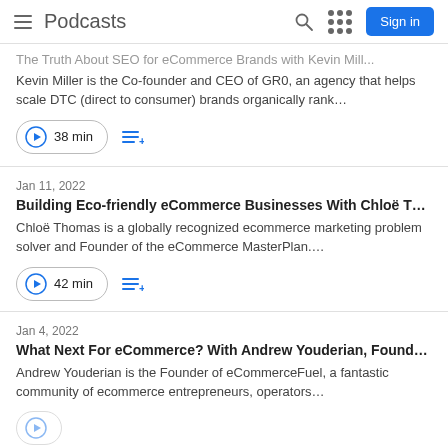Podcasts
The Truth About SEO for eCommerce Brands with Kevin Mill... Kevin Miller is the Co-founder and CEO of GR0, an agency that helps scale DTC (direct to consumer) brands organically rank... 38 min
Jan 11, 2022 Building Eco-friendly eCommerce Businesses With Chloë T… Chloë Thomas is a globally recognized ecommerce marketing problem solver and Founder of the eCommerce MasterPlan.... 42 min
Jan 4, 2022 What Next For eCommerce? With Andrew Youderian, Found… Andrew Youderian is the Founder of eCommerceFuel, a fantastic community of ecommerce entrepreneurs, operators…